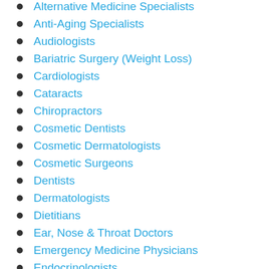Alternative Medicine Specialists
Anti-Aging Specialists
Audiologists
Bariatric Surgery (Weight Loss)
Cardiologists
Cataracts
Chiropractors
Cosmetic Dentists
Cosmetic Dermatologists
Cosmetic Surgeons
Dentists
Dermatologists
Dietitians
Ear, Nose & Throat Doctors
Emergency Medicine Physicians
Endocrinologists
Endodontists
Eye Doctors
Facial Plastic Surgeons